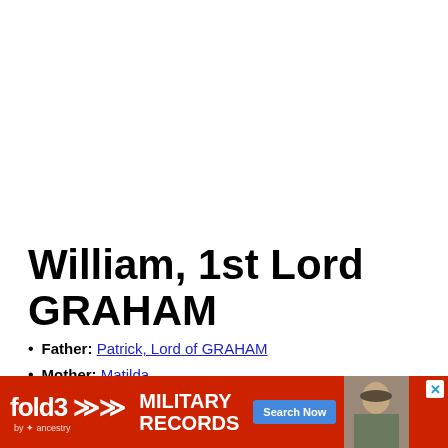William, 1st Lord GRAHAM
Father: Patrick, Lord of GRAHAM
Mother: Matilda
Birth: 1362/1369
Death: [partially visible]
[Figure (infographic): fold3 by Ancestry advertisement banner for Military Records with Search Now button and a photo of a soldier]